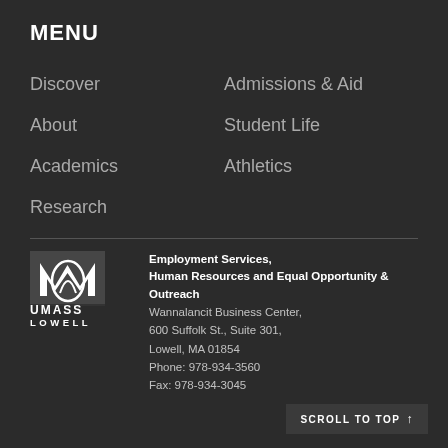MENU
Discover
Admissions & Aid
About
Student Life
Academics
Athletics
Research
[Figure (logo): UMass Lowell logo — stylized M with UMASS LOWELL text below]
Employment Services,
Human Resources and Equal Opportunity & Outreach
Wannalancit Business Center,
600 Suffolk St., Suite 301,
Lowell, MA 01854
Phone: 978-934-3560
Fax: 978-934-3045
SCROLL TO TOP ↑